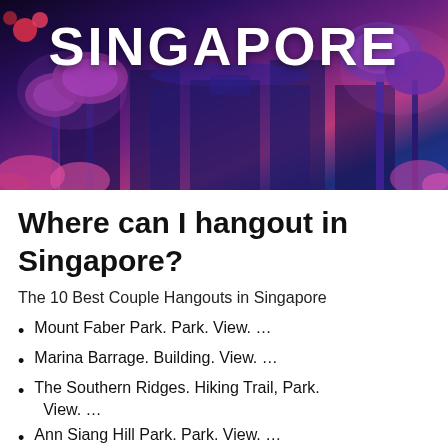[Figure (photo): Photo of Singapore's Gardens by the Bay Supertrees at night with purple and blue lighting, with the word SINGAPORE overlaid in large white bold text at the top]
Where can I hangout in Singapore?
The 10 Best Couple Hangouts in Singapore
Mount Faber Park. Park. View. …
Marina Barrage. Building. View. …
The Southern Ridges. Hiking Trail, Park. View. …
Ann Siang Hill Park. Park. View. …
Esplanade Bridge. Bridge. View. …
The Projector. Cinema, Theater. View.
…